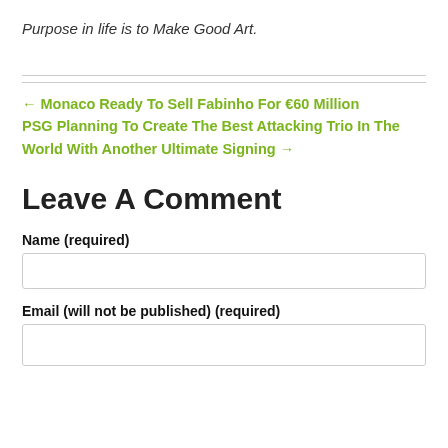Purpose in life is to Make Good Art.
← Monaco Ready To Sell Fabinho For €60 Million
PSG Planning To Create The Best Attacking Trio In The World With Another Ultimate Signing →
Leave A Comment
Name (required)
Email (will not be published) (required)